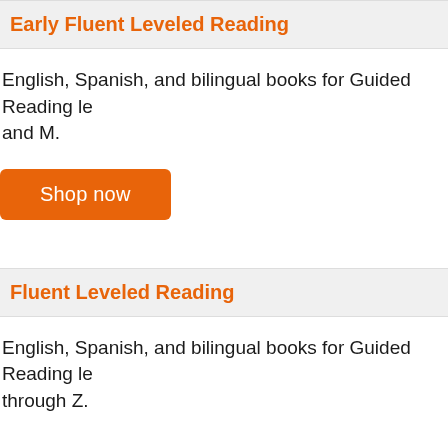Early Fluent Leveled Reading
English, Spanish, and bilingual books for Guided Reading levels J, K, L, and M.
Shop now
Fluent Leveled Reading
English, Spanish, and bilingual books for Guided Reading levels N through Z.